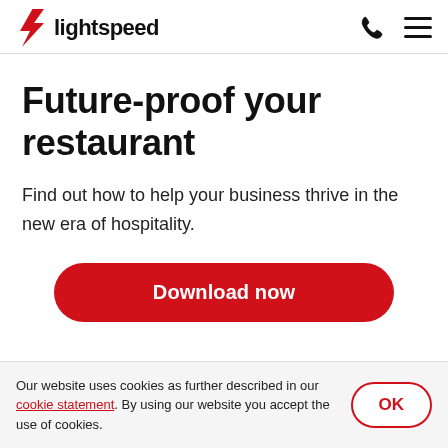lightspeed
Future-proof your restaurant
Find out how to help your business thrive in the new era of hospitality.
Download now
Our website uses cookies as further described in our cookie statement. By using our website you accept the use of cookies.